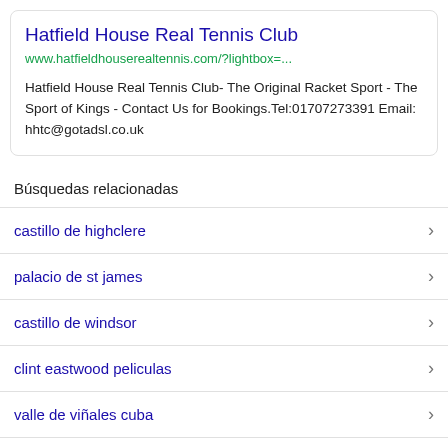Hatfield House Real Tennis Club
www.hatfieldhouserealtennis.com/?lightbox=...
Hatfield House Real Tennis Club- The Original Racket Sport - The Sport of Kings - Contact Us for Bookings.Tel:01707273391 Email: hhtc@gotadsl.co.uk
Búsquedas relacionadas
castillo de highclere
palacio de st james
castillo de windsor
clint eastwood peliculas
valle de viñales cuba